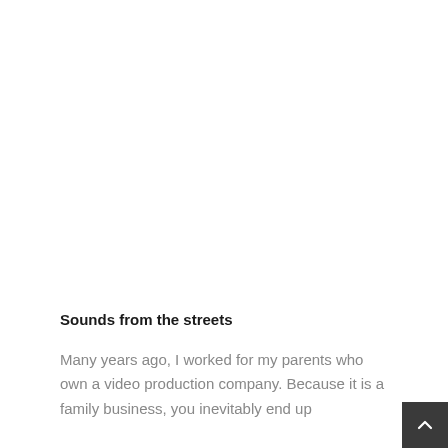Sounds from the streets
Many years ago, I worked for my parents who own a video production company. Because it is a family business, you inevitably end up